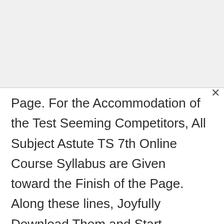Page. For the Accommodation of the Test Seeming Competitors, All Subject Astute TS 7th Online Course Syllabus are Given toward the Finish of the Page. Along these lines, Joyfully Download Them and Start Arrangement. These TS 7th Syllabus 2023 will assist you with scoring the Best grades in the Examination.